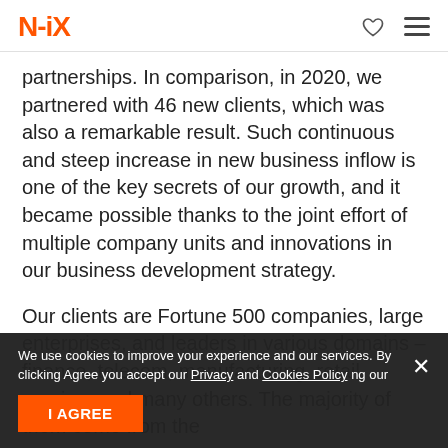N-iX
partnerships. In comparison, in 2020, we partnered with 46 new clients, which was also a remarkable result. Such continuous and steep increase in new business inflow is one of the key secrets of our growth, and it became possible thanks to the joint effort of multiple company units and innovations in our business development strategy.
Our clients are Fortune 500 companies, large enterprises, and leaders in various domains – finance, telecom, manufacturing, retail, gaming, and many others. The majority of them come from the
rs are large companies such as Seeking Alpha, Telit, Surprise.com, a renowned Swiss
We use cookies to improve your experience and our services. By clicking Agree you accept our Privacy and Cookies Policy ng our
I AGREE